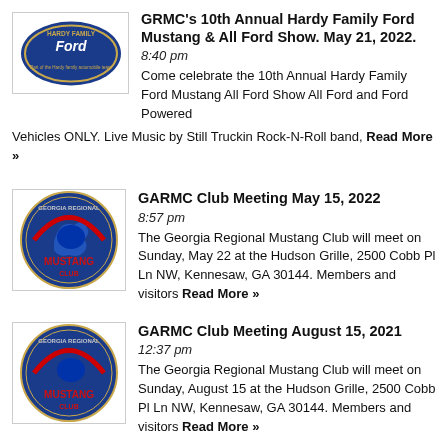[Figure (logo): Hardy Family Ford oval logo with blue background]
GRMC's 10th Annual Hardy Family Ford Mustang & All Ford Show. May 21, 2022.
8:40 pm
Come celebrate the 10th Annual Hardy Family Ford Mustang All Ford Show All Ford and Ford Powered Vehicles ONLY. Live Music by Still Truckin Rock-N-Roll band, Read More »
[Figure (logo): Georgia Regional Mustang Club circular logo with Mustang horse and red text]
GARMC Club Meeting May 15, 2022
8:57 pm
The Georgia Regional Mustang Club will meet on Sunday, May 22 at the Hudson Grille, 2500 Cobb Pl Ln NW, Kennesaw, GA 30144. Members and visitors Read More »
[Figure (logo): Georgia Regional Mustang Club circular logo with Mustang horse and red text]
GARMC Club Meeting August 15, 2021
12:37 pm
The Georgia Regional Mustang Club will meet on Sunday, August 15 at the Hudson Grille, 2500 Cobb Pl Ln NW, Kennesaw, GA 30144. Members and visitors Read More »
[Figure (logo): Georgia Regional Mustang Club circular logo with Mustang horse and red text]
GARMC Club Meeting July 18, 2021
12:36 pm